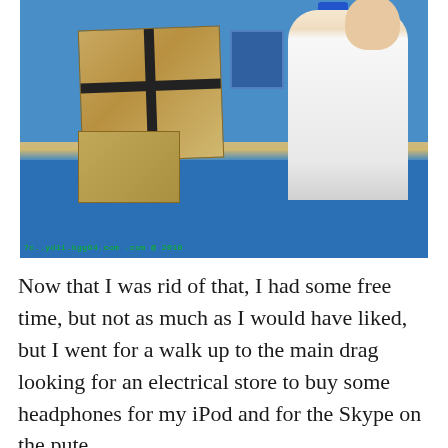[Figure (photo): A store counter scene: large cardboard boxes with black straps on a blue counter, an older man in a white shirt standing behind the counter, blue walls in background. A green watermark/timestamp is visible at the bottom left of the photo.]
Now that I was rid of that, I had some free time, but not as much as I would have liked, but I went for a walk up to the main drag looking for an electrical store to buy some headphones for my iPod and for the Skype on the pute.